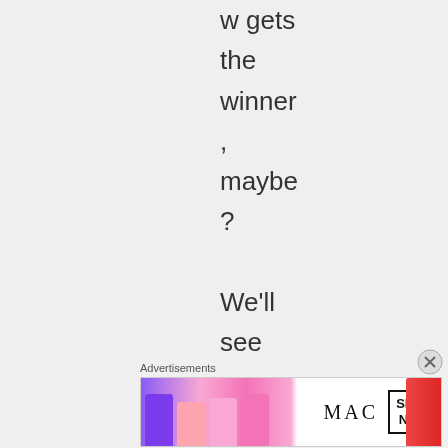w gets the winner , maybe ? We'll see how the seeds play
[Figure (photo): MAC cosmetics advertisement banner showing lipsticks in purple, pink, and red colors alongside the MAC logo and a 'SHOP NOW' button]
Advertisements